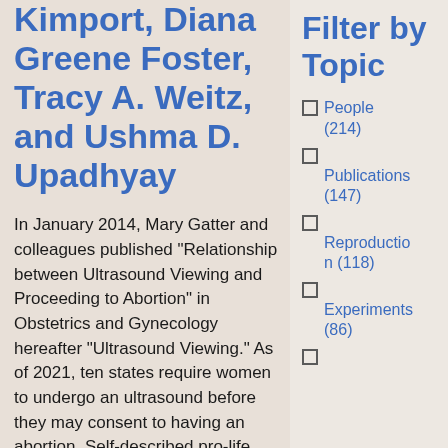Kimport, Diana Greene Foster, Tracy A. Weitz, and Ushma D. Upadhyay
In January 2014, Mary Gatter and colleagues published “Relationship between Ultrasound Viewing and Proceeding to Abortion” in Obstetrics and Gynecology hereafter “Ultrasound Viewing.” As of 2021, ten states require women to undergo an ultrasound before they may consent to having an abortion. Self-described pro-life organizations
Filter by Topic
People (214)
Publications (147)
Reproduction (118)
Experiments (86)